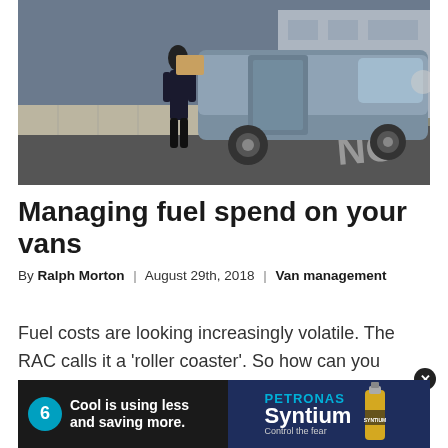[Figure (photo): A delivery driver in black clothing loading or unloading a grey Mercedes-Benz van on a paved street, with a modern building in the background.]
Managing fuel spend on your vans
By Ralph Morton | August 29th, 2018 | Van management
Fuel costs are looking increasingly volatile. The RAC calls it a 'roller coaster'. So how can you manage the fuel spend on your vans more eff
[Figure (advertisement): PETRONAS Syntium advertisement banner: 'Cool is using less and saving more.' with oil bottle graphic and close button.]